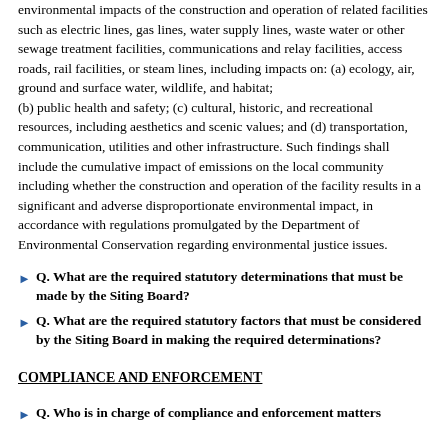environmental impacts of the construction and operation of related facilities such as electric lines, gas lines, water supply lines, waste water or other sewage treatment facilities, communications and relay facilities, access roads, rail facilities, or steam lines, including impacts on: (a) ecology, air, ground and surface water, wildlife, and habitat;
(b) public health and safety; (c) cultural, historic, and recreational resources, including aesthetics and scenic values; and (d) transportation, communication, utilities and other infrastructure. Such findings shall include the cumulative impact of emissions on the local community including whether the construction and operation of the facility results in a significant and adverse disproportionate environmental impact, in accordance with regulations promulgated by the Department of Environmental Conservation regarding environmental justice issues.
Q. What are the required statutory determinations that must be made by the Siting Board?
Q. What are the required statutory factors that must be considered by the Siting Board in making the required determinations?
COMPLIANCE AND ENFORCEMENT
Q. Who is in charge of compliance and enforcement matters